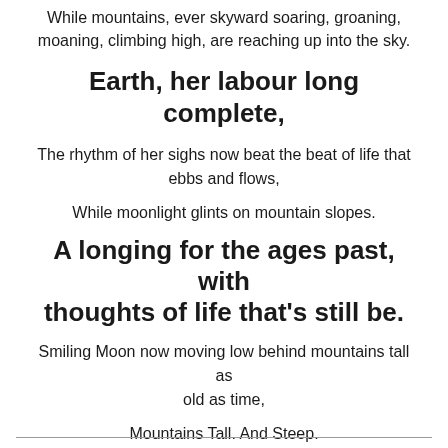While mountains, ever skyward soaring, groaning, moaning, climbing high, are reaching up into the sky.
Earth, her labour long complete,
The rhythm of her sighs now beat the beat of life that ebbs and flows,
While moonlight glints on mountain slopes.
A longing for the ages past, with thoughts of life that's still be.
Smiling Moon now moving low behind mountains tall as old as time,
Mountains Tall. And Steep.